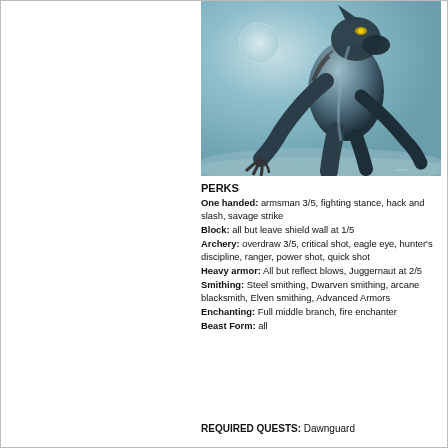[Figure (illustration): A dark werewolf creature leaping/lunging forward against a misty teal-grey background with a moon visible, depicted in a realistic fantasy art style.]
PERKS
One handed: armsman 3/5, fighting stance, hack and slash, savage strike
Block: all but leave shield wall at 1/5
Archery: overdraw 3/5, critical shot, eagle eye, hunter's discipline, ranger, power shot, quick shot
Heavy armor: All but reflect blows, Juggernaut at 2/5
Smithing: Steel smithing, Dwarven smithing, arcane blacksmith, Elven smithing, Advanced Armors
Enchanting: Full middle branch, fire enchanter
Beast Form: all
REQUIRED QUESTS: Dawnguard